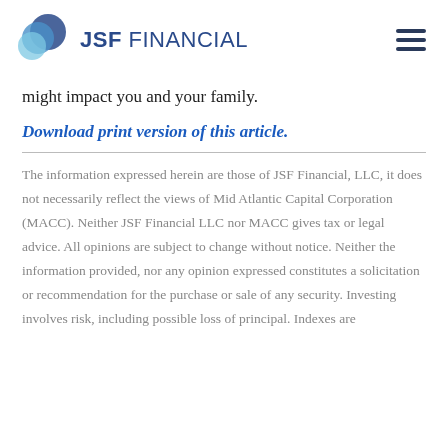JSF FINANCIAL
might impact you and your family.
Download print version of this article.
The information expressed herein are those of JSF Financial, LLC, it does not necessarily reflect the views of Mid Atlantic Capital Corporation (MACC). Neither JSF Financial LLC nor MACC gives tax or legal advice. All opinions are subject to change without notice. Neither the information provided, nor any opinion expressed constitutes a solicitation or recommendation for the purchase or sale of any security. Investing involves risk, including possible loss of principal. Indexes are